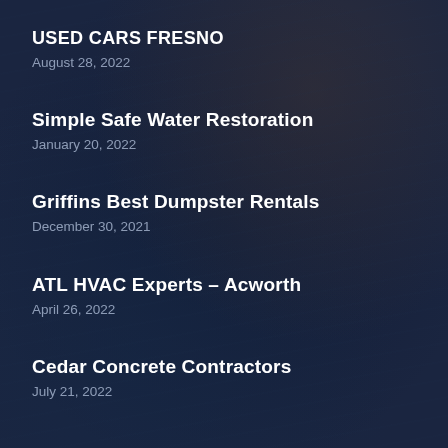USED CARS FRESNO
August 28, 2022
Simple Safe Water Restoration
January 20, 2022
Griffins Best Dumpster Rentals
December 30, 2021
ATL HVAC Experts – Acworth
April 26, 2022
Cedar Concrete Contractors
July 21, 2022